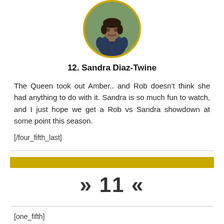[Figure (photo): Circular profile photo of Sandra Diaz-Twine with a gold border, showing a woman in a dark blue outfit outdoors]
12. Sandra Diaz-Twine
The Queen took out Amber.. and Rob doesn't think she had anything to do with it. Sandra is so much fun to watch, and I just hope we get a Rob vs Sandra showdown at some point this season.
[/four_fifth_last]
[Figure (other): Horizontal gold/yellow bar divider]
» 11 «
[one_fifth]